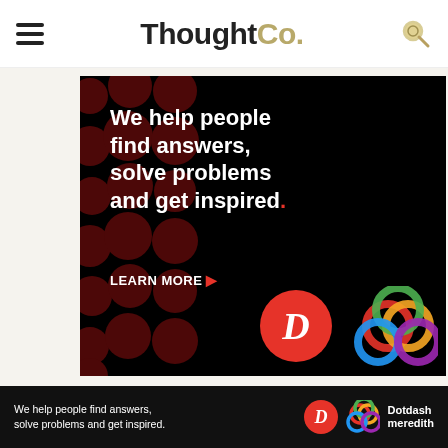[Figure (logo): ThoughtCo. website header with hamburger menu, ThoughtCo. logo in black and gold, and a search icon]
[Figure (infographic): Advertisement banner on black background with dark red dots pattern. Text reads: We help people find answers, solve problems and get inspired. LEARN MORE. Dotdash logo (red circle with D) and Dotdash Meredith colorful knot logo shown at bottom right.]
Stars, Planets, And Galaxies
How Long Do Stars Live?
[Figure (infographic): Bottom sticky ad: We help people find answers, solve problems and get inspired. Dotdash logo and Dotdash Meredith colorful logo with text 'Dotdash meredith']
Ad